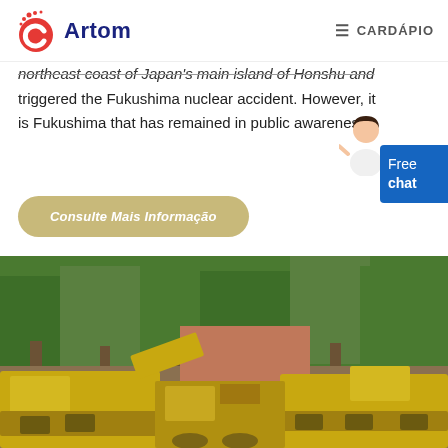Artom | CARDÁPIO
northeast coast of Japan's main island of Honshu and triggered the Fukushima nuclear accident. However, it is Fukushima that has remained in public awareness.
Consulte Mais Informação
[Figure (photo): Outdoor scene with yellow heavy construction/mining machinery in the foreground and green trees in the background.]